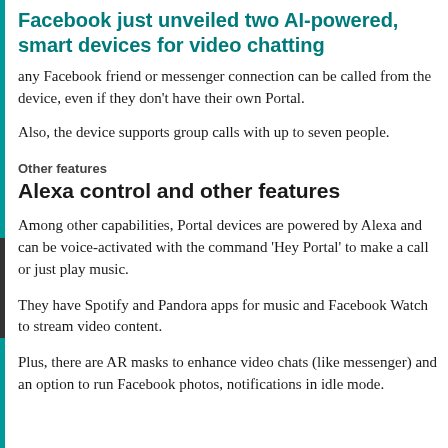Facebook just unveiled two AI-powered, smart devices for video chatting
any Facebook friend or messenger connection can be called from the device, even if they don't have their own Portal.
Also, the device supports group calls with up to seven people.
Other features
Alexa control and other features
Among other capabilities, Portal devices are powered by Alexa and can be voice-activated with the command 'Hey Portal' to make a call or just play music.
They have Spotify and Pandora apps for music and Facebook Watch to stream video content.
Plus, there are AR masks to enhance video chats (like messenger) and an option to run Facebook photos, notifications in idle mode.